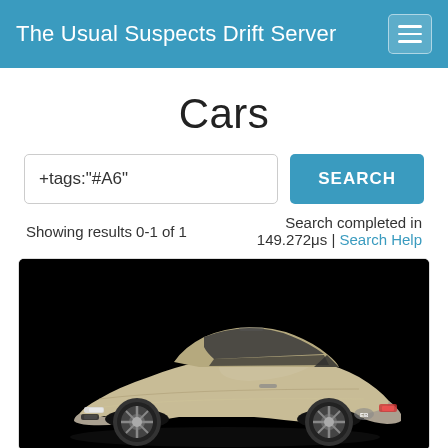The Usual Suspects Drift Server
Cars
+tags:"#A6"
Showing results 0-1 of 1    Search completed in 149.272μs | Search Help
[Figure (photo): A gold/champagne colored Bugatti Chiron supercar photographed against a black background, three-quarter front view]